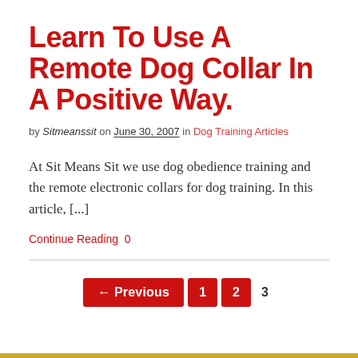Learn To Use A Remote Dog Collar In A Positive Way.
by Sitmeanssit on June 30, 2007 in Dog Training Articles
At Sit Means Sit we use dog obedience training and the remote electronic collars for dog training. In this article, [...]
Continue Reading  0
← Previous  1  2  3